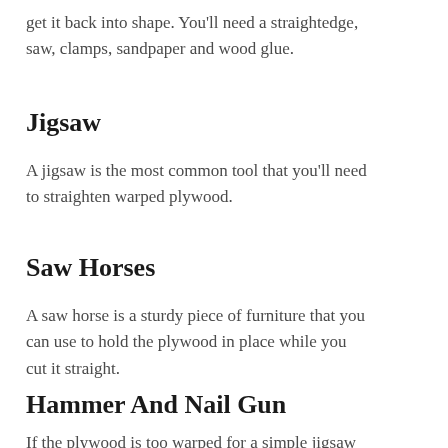get it back into shape. You'll need a straightedge, saw, clamps, sandpaper and wood glue.
Jigsaw
A jigsaw is the most common tool that you'll need to straighten warped plywood.
Saw Horses
A saw horse is a sturdy piece of furniture that you can use to hold the plywood in place while you cut it straight.
Hammer And Nail Gun
If the plywood is too warped for a simple jigsaw